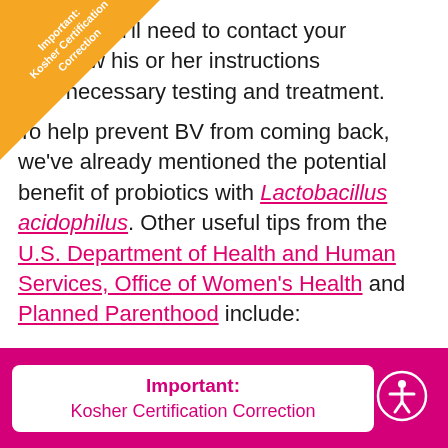[Figure (other): Orange corner triangle banner with white text reading 'Important: Kosher Certification Correction' rotated diagonally]
e care, you'll need to contact your nd follow his or her instructions ding necessary testing and treatment.
To help prevent BV from coming back, we've already mentioned the potential benefit of probiotics with Lactobacillus acidophilus. Other useful tips from the U.S. Department of Health and Human Services, Office of Women's Health and Planned Parenthood include:
Helping to keep your body's microorganisms
Important: Kosher Certification Correction